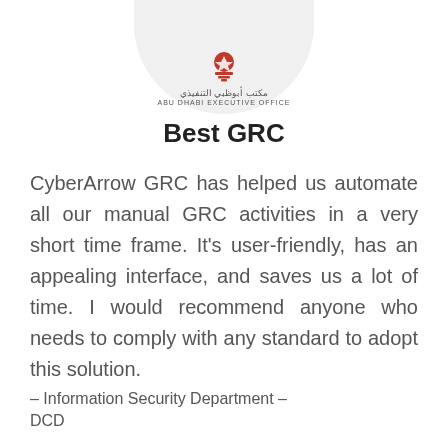[Figure (logo): Abu Dhabi Executive Office logo — Arabic text 'مكتب أبوظبي التنفيذي' and English text 'ABU DHABI EXECUTIVE OFFICE' with a red emblem, displayed inside a light gray half-circle at the top of the page]
Best GRC
CyberArrow GRC has helped us automate all our manual GRC activities in a very short time frame. It's user-friendly, has an appealing interface, and saves us a lot of time. I would recommend anyone who needs to comply with any standard to adopt this solution.
– Information Security Department – DCD